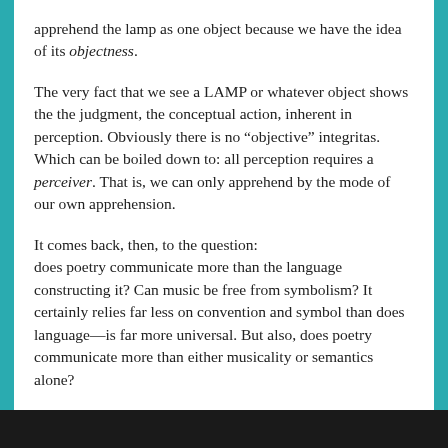apprehend the lamp as one object because we have the idea of its objectness.
The very fact that we see a LAMP or whatever object shows the the judgment, the conceptual action, inherent in perception. Obviously there is no “objective” integritas. Which can be boiled down to: all perception requires a perceiver. That is, we can only apprehend by the mode of our own apprehension.
It comes back, then, to the question: does poetry communicate more than the language constructing it? Can music be free from symbolism? It certainly relies far less on convention and symbol than does language—is far more universal. But also, does poetry communicate more than either musicality or semantics alone?